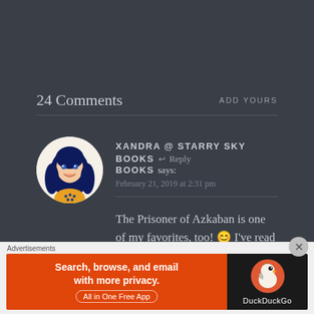24 Comments
ADD YOURS
XANDRA @ STARRY SKY BOOKS says: February 21, 2019 at 2:31 pm
The Prisoner of Azkaban is one of my favorites, too! 😊 I've read it five times and I'm ready to read it again when I
Advertisements
[Figure (screenshot): DuckDuckGo advertisement banner: Search, browse, and email with more privacy. All in One Free App.]